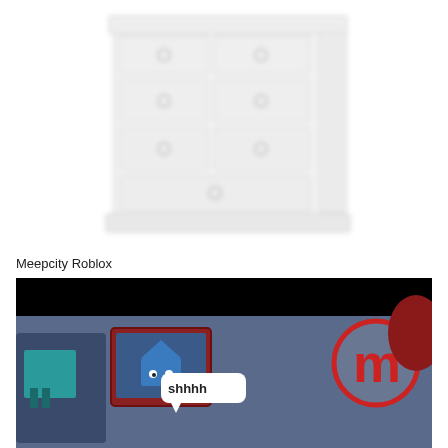[Figure (photo): A blurry white dresser/chest of drawers with multiple drawers and round knobs, photographed against a white background.]
Meepcity Roblox
[Figure (screenshot): A screenshot from Roblox MeepCity game showing cartoon characters in a dark room. One character has a white speech bubble saying 'shhhh'. There is a red M logo/watermark in the upper right corner.]